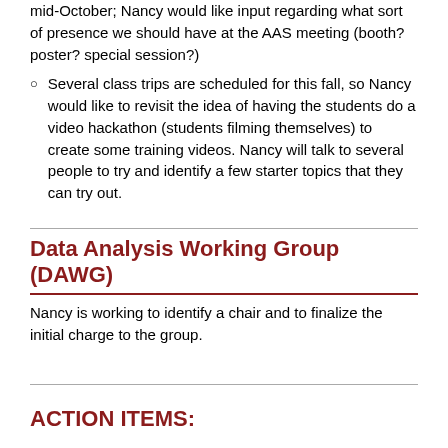mid-October; Nancy would like input regarding what sort of presence we should have at the AAS meeting (booth? poster? special session?)
Several class trips are scheduled for this fall, so Nancy would like to revisit the idea of having the students do a video hackathon (students filming themselves) to create some training videos. Nancy will talk to several people to try and identify a few starter topics that they can try out.
Data Analysis Working Group (DAWG)
Nancy is working to identify a chair and to finalize the initial charge to the group.
ACTION ITEMS: